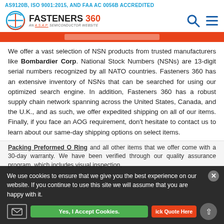AS9120B, ISO 9001:2015, AND FAA AC 0056B ACCREDITED
[Figure (logo): Fasteners 360 logo with ASAP Semiconductor website tagline, search and menu icons]
We offer a vast selection of NSN products from trusted manufacturers like Bombardier Corp. National Stock Numbers (NSNs) are 13-digit serial numbers recognized by all NATO countries. Fasteners 360 has an extensive inventory of NSNs that can be searched for using our optimized search engine. In addition, Fasteners 360 has a robust supply chain network spanning across the United States, Canada, and the U.K., and as such, we offer expedited shipping on all of our items. Finally, if you face an AOG requirement, don't hesitate to contact us to learn about our same-day shipping options on select items.
Packing Preformed O Ring and all other items that we offer come with a 30-day warranty. We have been verified through our quality assurance program, which includes visual inspection,
We use cookies to ensure that we give you the best experience on our website. If you continue to use this site we will assume that you are happy with it.